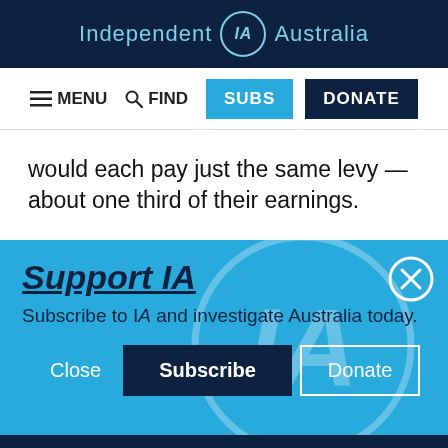Independent IA Australia
≡ MENU  🔍 FIND  SUBS  DONATE
would each pay just the same levy — about one third of their earnings.
Support IA
Subscribe to IA and investigate Australia today.
Close  Subscribe  Donate
Twitter Facebook LinkedIn Flipboard Link Plus